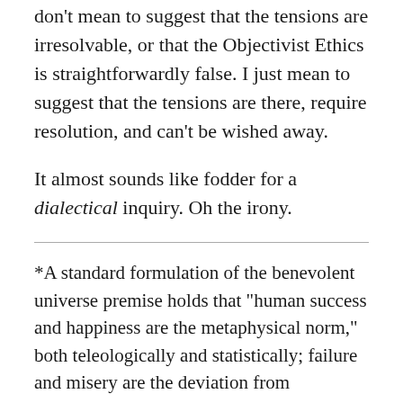don't mean to suggest that the tensions are irresolvable, or that the Objectivist Ethics is straightforwardly false. I just mean to suggest that the tensions are there, require resolution, and can't be wished away.
It almost sounds like fodder for a dialectical inquiry. Oh the irony.
*A standard formulation of the benevolent universe premise holds that "human success and happiness are the metaphysical norm," both teleologically and statistically; failure and misery are the deviation from